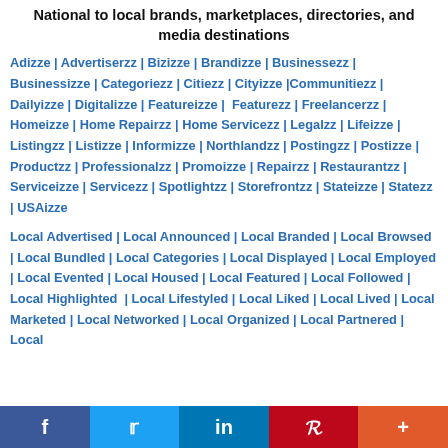National to local brands, marketplaces, directories, and media destinations
Adizze | Advertiserzz | Bizizze | Brandizze | Businessezz | Businessizze | Categoriezz | Citiezz | Cityizze | Communitiezz | Dailyizze | Digitalizze | Featureizze | Featurezz | Freelancerzz | Homeizze | Home Repairzz | Home Servicezz | Legalzz | Lifeizze | Listingzz | Listizze | Informizze | Northlandzz | Postingzz | Postizze | Productzz | Professionalzz | Promoizze | Repairzz | Restaurantzz | Serviceizze | Servicezz | Spotlightzz | Storefrontzz | Stateizze | Statezz | USAizze
Local Advertised | Local Announced | Local Branded | Local Browsed | Local Bundled | Local Categories | Local Displayed | Local Employed | Local Evented | Local Housed | Local Featured | Local Followed | Local Highlighted | Local Lifestyled | Local Liked | Local Lived | Local Marketed | Local Networked | Local Organized | Local Partnered | Local ...
f  t  in  P  +